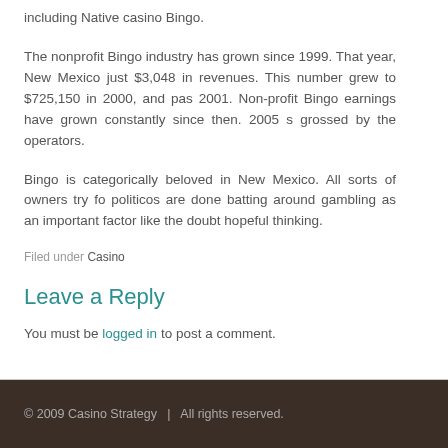including Native casino Bingo.
The nonprofit Bingo industry has grown since 1999. That year, New Mexico just $3,048 in revenues. This number grew to $725,150 in 2000, and pas 2001. Non-profit Bingo earnings have grown constantly since then. 2005 s grossed by the operators.
Bingo is categorically beloved in New Mexico. All sorts of owners try fo politicos are done batting around gambling as an important factor like the doubt hopeful thinking.
Filed under Casino
Leave a Reply
You must be logged in to post a comment.
© 2009 Casino Strategy  |  All rights reserved.